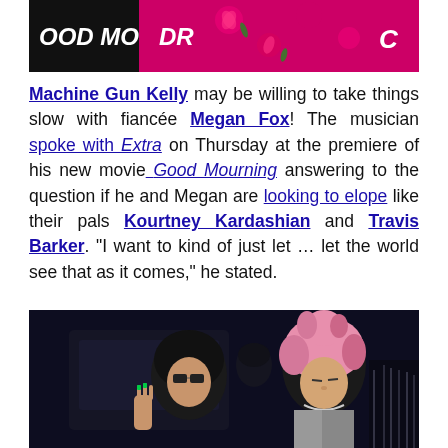[Figure (photo): Top portion of a photo showing Machine Gun Kelly and Megan Fox, with bright pink floral outfit visible]
Machine Gun Kelly may be willing to take things slow with fiancée Megan Fox! The musician spoke with Extra on Thursday at the premiere of his new movie Good Mourning answering to the question if he and Megan are looking to elope like their pals Kourtney Kardashian and Travis Barker. "I want to kind of just let … let the world see that as it comes," he stated.
[Figure (photo): Photo of Machine Gun Kelly with pink hair and a woman with dark hair, taken at night]